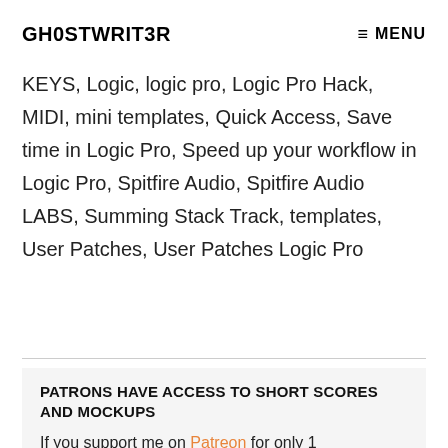GH0STWRIT3R  MENU
KEYS, Logic, logic pro, Logic Pro Hack, MIDI, mini templates, Quick Access, Save time in Logic Pro, Speed up your workflow in Logic Pro, Spitfire Audio, Spitfire Audio LABS, Summing Stack Track, templates, User Patches, User Patches Logic Pro
PATRONS HAVE ACCESS TO SHORT SCORES AND MOCKUPS
If you support me on Patreon for only 1